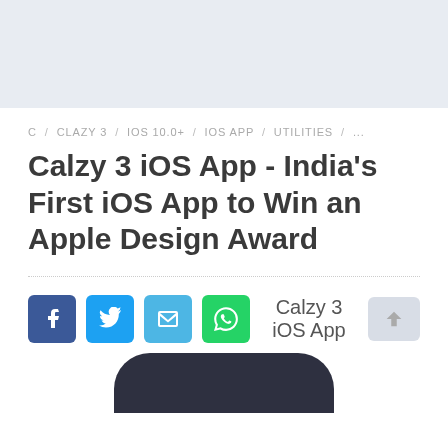[Figure (other): Light blue-grey header banner area at the top of the page]
C / CLAZY 3 / IOS 10.0+ / IOS APP / UTILITIES / ...
Calzy 3 iOS App - India's First iOS App to Win an Apple Design Award
[Figure (infographic): Social sharing buttons: Facebook (blue), Twitter (light blue), Email (blue), WhatsApp (green), followed by caption 'Calzy 3 iOS App' and a scroll-to-top button]
Calzy 3 iOS App
[Figure (other): Dark rounded rectangle at bottom representing app icon or phone graphic]